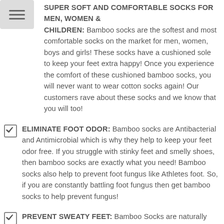SUPER SOFT AND COMFORTABLE SOCKS FOR MEN, WOMEN & CHILDREN: Bamboo socks are the softest and most comfortable socks on the market for men, women, boys and girls! These socks have a cushioned sole to keep your feet extra happy! Once you experience the comfort of these cushioned bamboo socks, you will never want to wear cotton socks again! Our customers rave about these socks and we know that you will too!
ELIMINATE FOOT ODOR: Bamboo socks are Antibacterial and Antimicrobial which is why they help to keep your feet odor free. If you struggle with stinky feet and smelly shoes, then bamboo socks are exactly what you need! Bamboo socks also help to prevent foot fungus like Athletes foot. So, if you are constantly battling foot fungus then get bamboo socks to help prevent fungus!
PREVENT SWEATY FEET: Bamboo Socks are naturally moisture wicking so that your feet stay nice and dry. These socks also have a bamboo mesh top to make them more breathable and lightweight so that your feet stay cool and dry. Bamboo socks will keep your feet comfortable and dry!